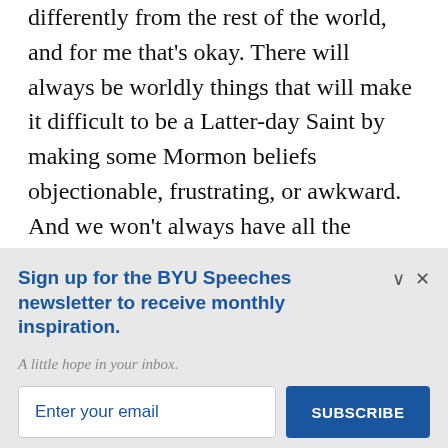differently from the rest of the world, and for me that's okay. There will always be worldly things that will make it difficult to be a Latter-day Saint by making some Mormon beliefs objectionable, frustrating, or awkward. And we won't always have all the answers to these difficulties, certainly not the moment they first arise. But this too invites further
Sign up for the BYU Speeches newsletter to receive monthly inspiration.
A little hope in your inbox.
Enter your email
SUBSCRIBE